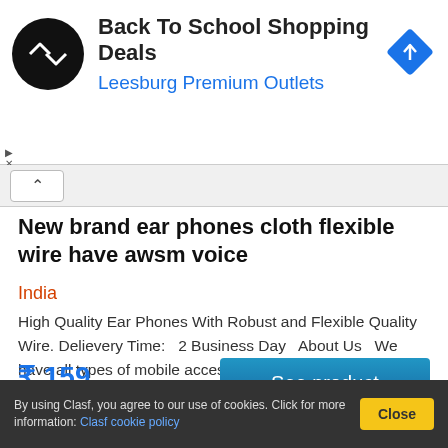[Figure (other): Advertisement banner for Back To School Shopping Deals at Leesburg Premium Outlets with circular logo and blue diamond navigation icon]
New brand ear phones cloth flexible wire have awsm voice
India
High Quality Ear Phones With Robust and Flexible Quality Wire. Delievery Time:   2 Business Day  About Us  We have all types of mobile accessories available,if u do not finds your desire item
₹ 159
See product
By using Clasf, you agree to our use of cookies. Click for more information: Clasf cookie policy